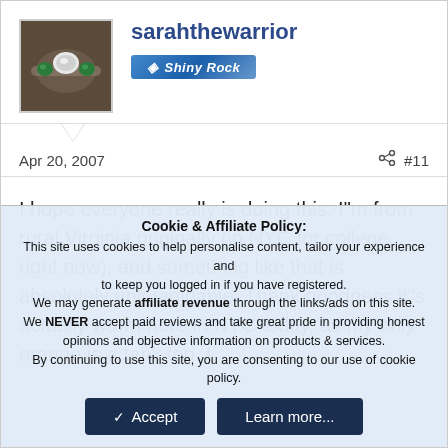[Figure (photo): Avatar image of a ring with green and white gemstones on a dark background]
sarahthewarrior
[Figure (illustration): Blue badge with diamond icon and text 'Shiny Rock']
Apr 20, 2007   #11
I hope everyone really is doing this. I"m from rural Virginia originally (in NYC for college right now), and something like that is absolutely unimaginable. Thank goodness it"s actually warm here in NYC today, as my only orange is a tank top. I
Cookie & Affiliate Policy: This site uses cookies to help personalise content, tailor your experience and to keep you logged in if you have registered. We may generate affiliate revenue through the links/ads on this site. We NEVER accept paid reviews and take great pride in providing honest opinions and objective information on products & services. By continuing to use this site, you are consenting to our use of cookie policy.